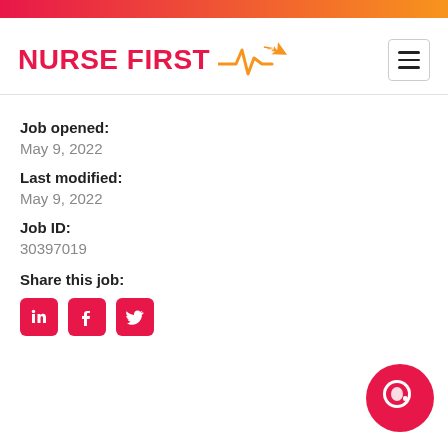[Figure (logo): Nurse First logo with heartbeat/ECG line and airplane icon in red and orange]
Job opened:
May 9, 2022
Last modified:
May 9, 2022
Job ID:
30397019
Share this job:
[Figure (illustration): LinkedIn, Facebook, Twitter share icons in red rounded squares]
[Figure (logo): Chat/support bubble icon in pink/red at bottom right]